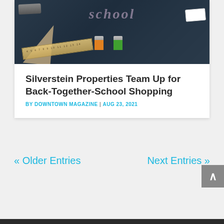[Figure (photo): Photo of school supplies on a dark chalkboard — ruler, triangle, orange and green binder clips, eraser, stapler, with chalk writing 'school' in the background]
Silverstein Properties Team Up for Back-Together-School Shopping
BY DOWNTOWN MAGAZINE | AUG 23, 2021
« Older Entries
Next Entries »